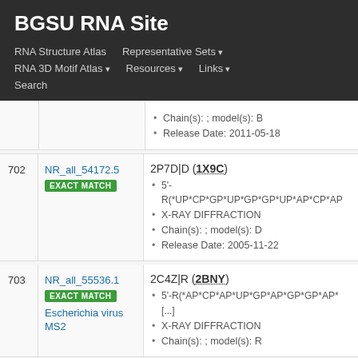BGSU RNA Site
RNA Structure Atlas | Representative Sets | RNA 3D Motif Atlas | Resources | Links | Search
| # | ID | Details |
| --- | --- | --- |
|  |  | Chain(s): ; model(s): B
Release Date: 2011-05-18 |
| 702 | NR_all_54172.5
EXACT MATCH | 2P7D|D (1X9C)
5'-R(*UP*CP*GP*UP*GP*GP*UP*AP*CP*AP...
X-RAY DIFFRACTION
Chain(s): ; model(s): D
Release Date: 2005-11-22 |
| 703 | NR_all_55536.1
EXACT MATCH
Escherichia virus MS2 | 2C4Z|R (2BNY)
5'-R(*AP*CP*AP*UP*GP*AP*GP*GP*AP*...
[...]
X-RAY DIFFRACTION
Chain(s): ; model(s): R |